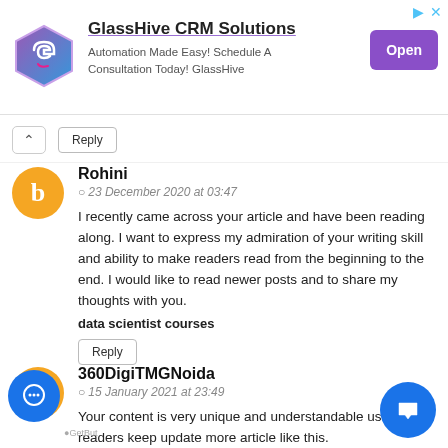[Figure (screenshot): GlassHive CRM Solutions advertisement banner with logo, tagline 'Automation Made Easy! Schedule A Consultation Today! GlassHive', and purple Open button]
Reply
Rohini
23 December 2020 at 03:47
I recently came across your article and have been reading along. I want to express my admiration of your writing skill and ability to make readers read from the beginning to the end. I would like to read newer posts and to share my thoughts with you.
data scientist courses
Reply
360DigiTMGNoida
15 January 2021 at 23:49
Your content is very unique and understandable use the readers keep update more article like this.